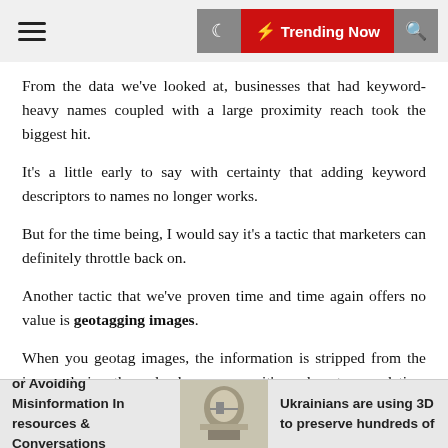Trending Now
From the data we've looked at, businesses that had keyword-heavy names coupled with a large proximity reach took the biggest hit.
It's a little early to say with certainty that adding keyword descriptors to names no longer works.
But for the time being, I would say it's a tactic that marketers can definitely throttle back on.
Another tactic that we've proven time and time again offers no value is geotagging images.
When you geotag images, the information is stripped from the image during the upload process so it's useless to spend time adding it in.
or Avoiding Misinformation In resources & Conversations | Ukrainians are using 3D to preserve hundreds of